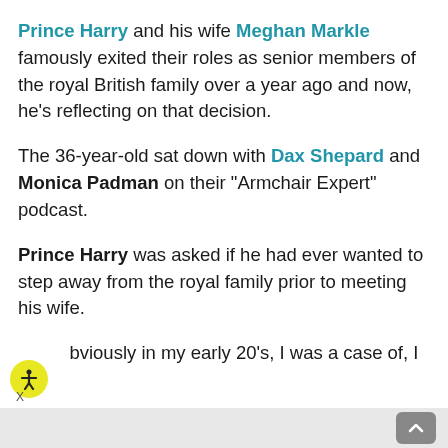Prince Harry and his wife Meghan Markle famously exited their roles as senior members of the royal British family over a year ago and now, he's reflecting on that decision.
The 36-year-old sat down with Dax Shepard and Monica Padman on their "Armchair Expert" podcast.
Prince Harry was asked if he had ever wanted to step away from the royal family prior to meeting his wife.
Obviously in my early 20's, I was a case of, I